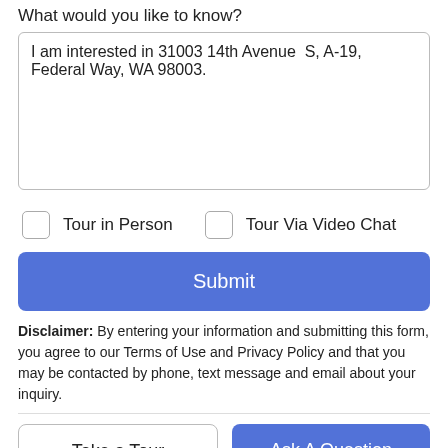What would you like to know?
I am interested in 31003 14th Avenue  S, A-19, Federal Way, WA 98003.
Tour in Person
Tour Via Video Chat
Submit
Disclaimer: By entering your information and submitting this form, you agree to our Terms of Use and Privacy Policy and that you may be contacted by phone, text message and email about your inquiry.
Take a Tour
Ask A Question